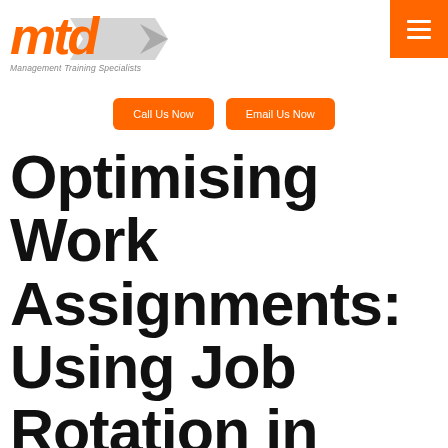[Figure (logo): MTD Management Training Specialists logo with orange italic text and grey arrow, tagline reads 'Management Training Specialists']
Call Us Now
Email Us Now
Optimising Work Assignments: Using Job Rotation in Factory and